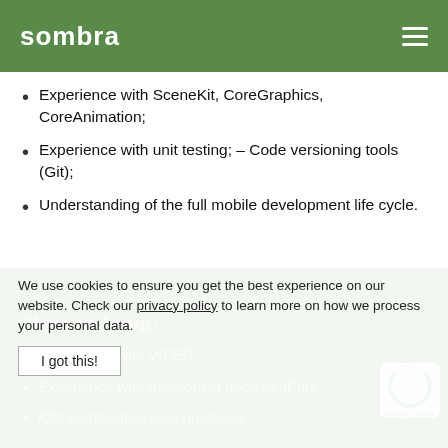sombra
Experience with SceneKit, CoreGraphics, CoreAnimation;
Experience with unit testing; – Code versioning tools (Git);
Understanding of the full mobile development life cycle.
Nice to have:
Experience with VIPER;
Experience with developing apps for iPad;
iOS architecture best practices.
We use cookies to ensure you get the best experience on our website. Check our privacy policy to learn more on how we process your personal data.